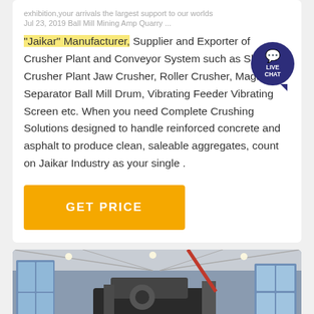exhibition,your arrivals the largest support to our worlds
Jul 23, 2019 Ball Mill Mining Amp Quarry ...
"Jaikar" Manufacturer, Supplier and Exporter of Crusher Plant and Conveyor System such as Slag Crusher Plant Jaw Crusher, Roller Crusher, Magnetic Separator Ball Mill Drum, Vibrating Feeder Vibrating Screen etc. When you need Complete Crushing Solutions designed to handle reinforced concrete and asphalt to produce clean, saleable aggregates, count on Jaikar Industry as your single .
[Figure (other): LIVE CHAT bubble icon, dark navy blue circular badge with speech bubble tail]
GET PRICE
[Figure (photo): Interior of an industrial facility or factory showing heavy machinery, a large crane or mill equipment, with industrial roof structure visible]